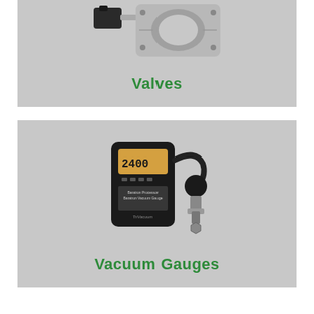[Figure (photo): A metal gate valve (aluminum/silver) with black actuator on top, shown against a gray background. Label reads 'Valves' in green text.]
[Figure (photo): A handheld vacuum gauge device (TriVacuum brand, Baratron Processor / Baratron Vacuum Gauge) with digital display showing '2400', connected via black hose to a vacuum fitting. Label reads 'Vacuum Gauges' in green text.]